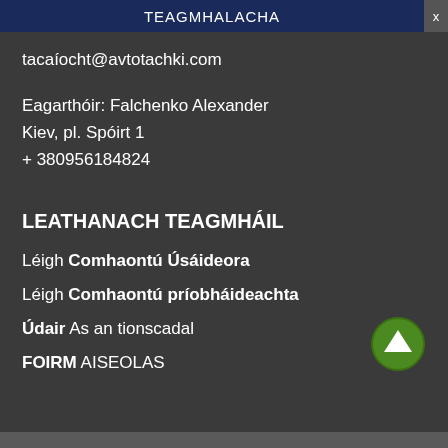TEAGMHALACHA
tacaíocht@avtotachki.com
Eagarthóir: Falchenko Alexander
Kiev, pl. Spóirt 1
+ 380956184824
LEATHANACH TEAGMHÁIL
Léigh Comhaontú Úsáideora
Léigh Comhaontú príobháideachta
Údair As an tionscadal
FOIRM AISEOLAS